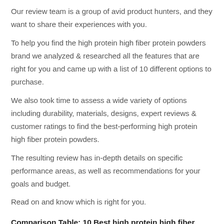Our review team is a group of avid product hunters, and they want to share their experiences with you.
To help you find the high protein high fiber protein powders brand we analyzed & researched all the features that are right for you and came up with a list of 10 different options to purchase.
We also took time to assess a wide variety of options including durability, materials, designs, expert reviews & customer ratings to find the best-performing high protein high fiber protein powders.
The resulting review has in-depth details on specific performance areas, as well as recommendations for your goals and budget.
Read on and know which is right for you.
Comparison Table: 10 Best high protein high fiber protein powders